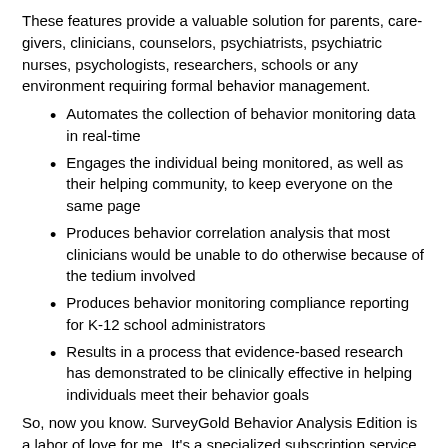These features provide a valuable solution for parents, care-givers, clinicians, counselors, psychiatrists, psychiatric nurses, psychologists, researchers, schools or any environment requiring formal behavior management.
Automates the collection of behavior monitoring data in real-time
Engages the individual being monitored, as well as their helping community, to keep everyone on the same page
Produces behavior correlation analysis that most clinicians would be unable to do otherwise because of the tedium involved
Produces behavior monitoring compliance reporting for K-12 school administrators
Results in a process that evidence-based research has demonstrated to be clinically effective in helping individuals meet their behavior goals
So, now you know. SurveyGold Behavior Analysis Edition is a labor of love for me. It's a specialized subscription service that enhances the SurveyGold application. It serves not only the caring professionals using the process designed by our doctor friend, but also engages